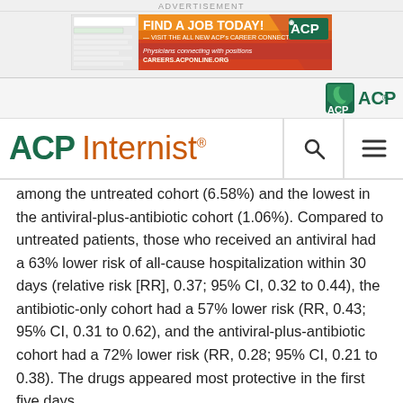ADVERTISEMENT
[Figure (infographic): ACP Career Connection advertisement banner: 'FIND A JOB TODAY! VISIT THE ALL NEW ACP's CAREER CONNECTION — Physicians connecting with positions CAREERS.ACPONLINE.ORG' with ACP logo]
[Figure (logo): ACP logo (green shield with leaf and ACP text) navigation bar]
ACP Internist
among the untreated cohort (6.58%) and the lowest in the antiviral-plus-antibiotic cohort (1.06%). Compared to untreated patients, those who received an antiviral had a 63% lower risk of all-cause hospitalization within 30 days (relative risk [RR], 0.37; 95% CI, 0.32 to 0.44), the antibiotic-only cohort had a 57% lower risk (RR, 0.43; 95% CI, 0.31 to 0.62), and the antiviral-plus-antibiotic cohort had a 72% lower risk (RR, 0.28; 95% CI, 0.21 to 0.38). The drugs appeared most protective in the first five days
Although the antiviral-plus-antibiotic group had a lower risk